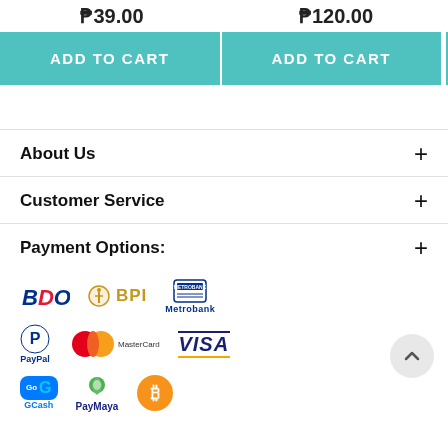₱39.00 | ₱120.00
ADD TO CART | ADD TO CART
About Us
Customer Service
Payment Options:
[Figure (logo): Payment method logos: BDO, BPI, Metrobank, PayPal, MasterCard, VISA, GCash, PayMaya, Bitcoin]